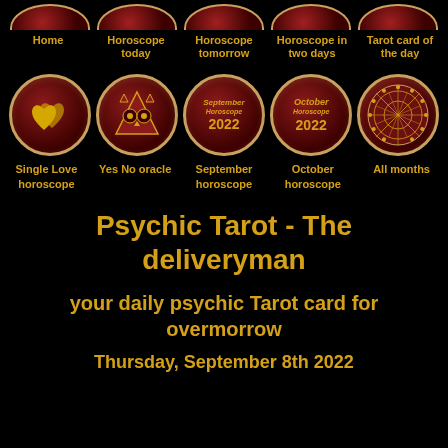[Figure (screenshot): Top cropped navigation icons row showing partial circles at top edge]
Home | Horoscope today | Horoscope tomorrow | Horoscope in two days | Tarot card of the day
[Figure (infographic): Row of 5 circular icon buttons: Single Love horoscope (hearts), Yes No oracle (owl), September horoscope 2022, October horoscope 2022, All months (zodiac wheel)]
Psychic Tarot - The deliveryman
your daily psychic Tarot card for overmorrow
Thursday, September 8th 2022